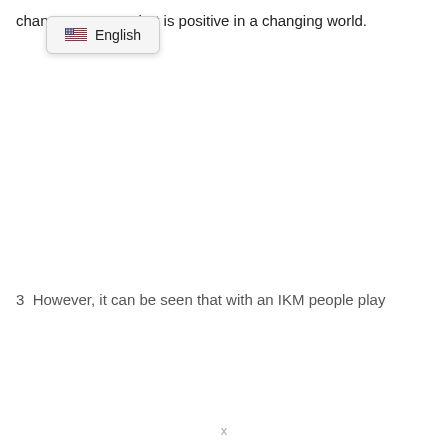chan... hat is positive in a changing world.
[Figure (other): A dropdown UI element showing an English language selector with a US flag icon and the label 'English'.]
3  However, it can be seen that with an IKM people play